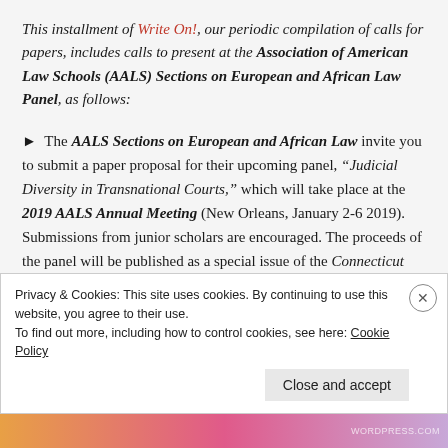This installment of Write On!, our periodic compilation of calls for papers, includes calls to present at the Association of American Law Schools (AALS) Sections on European and African Law Panel, as follows:
► The AALS Sections on European and African Law invite you to submit a paper proposal for their upcoming panel, "Judicial Diversity in Transnational Courts," which will take place at the 2019 AALS Annual Meeting (New Orleans, January 2-6 2019). Submissions from junior scholars are encouraged. The proceeds of the panel will be published as a special issue of the Connecticut
Privacy & Cookies: This site uses cookies. By continuing to use this website, you agree to their use.
To find out more, including how to control cookies, see here: Cookie Policy